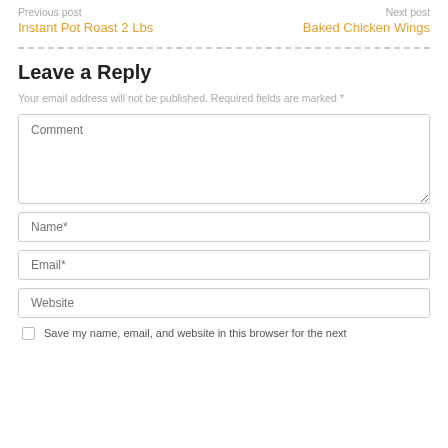Previous post
Instant Pot Roast 2 Lbs
Next post
Baked Chicken Wings
Leave a Reply
Your email address will not be published. Required fields are marked *
Comment
Name*
Email*
Website
Save my name, email, and website in this browser for the next